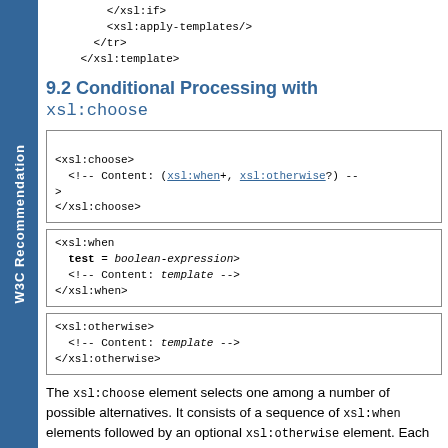</xsl:if>
<xsl:apply-templates/>
</tr>
</xsl:template>
9.2 Conditional Processing with xsl:choose
<!-- Category: instruction -->
<xsl:choose>
  <!-- Content: (xsl:when+, xsl:otherwise?) -->
</xsl:choose>
<xsl:when
  test = boolean-expression>
  <!-- Content: template -->
</xsl:when>
<xsl:otherwise>
  <!-- Content: template -->
</xsl:otherwise>
The xsl:choose element selects one among a number of possible alternatives. It consists of a sequence of xsl:when elements followed by an optional xsl:otherwise element. Each xsl:when